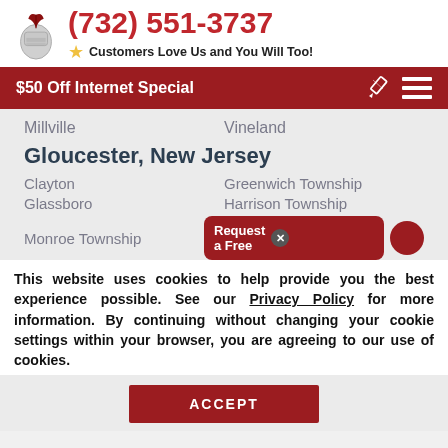(732) 551-3737 — Customers Love Us and You Will Too!
$50 Off Internet Special
Millville
Vineland
Gloucester, New Jersey
Clayton
Greenwich Township
Glassboro
Harrison Township
Monroe Township
Request a Free
This website uses cookies to help provide you the best experience possible. See our Privacy Policy for more information. By continuing without changing your cookie settings within your browser, you are agreeing to our use of cookies.
ACCEPT